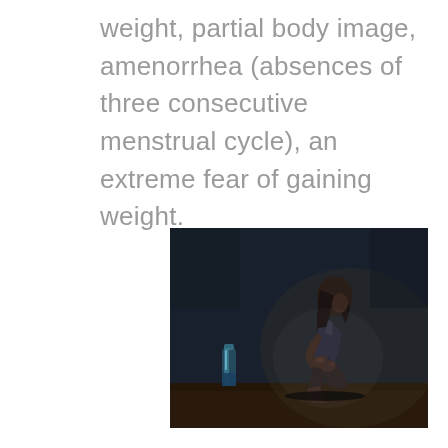weight, partial body image, amenorrhea (absences of three consecutive menstrual cycle), an extreme fear of gaining weight.
[Figure (photo): A person with dark hair sitting on the floor hugging their knees in a dark room, with a water bottle to their left. The image has dramatic low-key lighting against a dark background, evoking themes of eating disorders or isolation.]